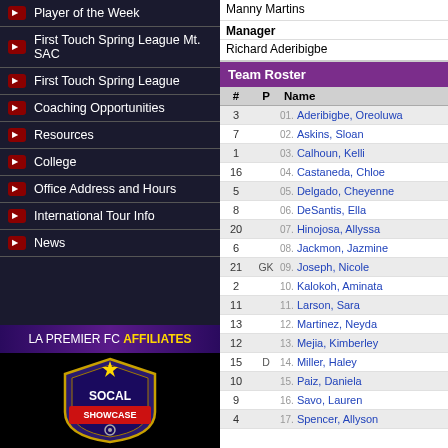Player of the Week
First Touch Spring League Mt. SAC
First Touch Spring League
Coaching Opportunities
Resources
College
Office Address and Hours
International Tour Info
News
LA PREMIER FC AFFILIATES
[Figure (logo): SoCal Showcase shield logo with blue/purple background, red banner with SHOWCASE text and gold trim, star on top]
Manny Martins
Manager
Richard Aderibigbe
Team Roster
| # | P | Name |
| --- | --- | --- |
| 3 |  | 01. Aderibigbe, Oreoluwa |
| 7 |  | 02. Askins, Sloan |
| 1 |  | 03. Calhoun, Kelli |
| 16 |  | 04. Castaneda, Chloe |
| 5 |  | 05. Delgado, Cheyenne |
| 8 |  | 06. DeSantis, Ella |
| 20 |  | 07. Hinojosa, Allyssa |
| 6 |  | 08. Jackmon, Jazmine |
| 21 | GK | 09. Joseph, Nicole |
| 2 |  | 10. Kalokoh, Aminata |
| 11 |  | 11. Larson, Sara |
| 13 |  | 12. Martinez, Neyda |
| 12 |  | 13. Mejia, Kimberley |
| 15 | D | 14. Miller, Haley |
| 10 |  | 15. Paiz, Daniela |
| 9 |  | 16. Savo, Lauren |
| 4 |  | 17. Spencer, Allyson |